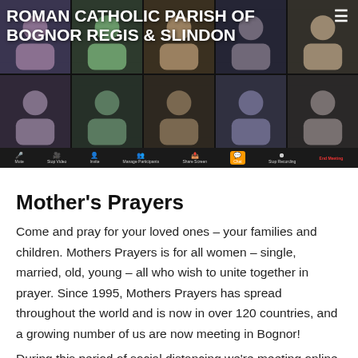[Figure (screenshot): Zoom video call screenshot showing multiple participants in a grid layout, with toolbar at bottom showing Mute, Stop Video, Invite, Manage Participants, Share Screen, Chat (highlighted in orange), Stop Recording, and End Meeting buttons. Title overlay reads 'ROMAN CATHOLIC PARISH OF BOGNOR REGIS & SLINDON' in white bold text.]
Mother's Prayers
Come and pray for your loved ones – your families and children. Mothers Prayers is for all women – single, married, old, young – all who wish to unite together in prayer. Since 1995, Mothers Prayers has spread throughout the world and is now in over 120 countries, and a growing number of us are now meeting in Bognor!
During this period of social distancing we're meeting online, please do drop Ginny a note and she'll send you